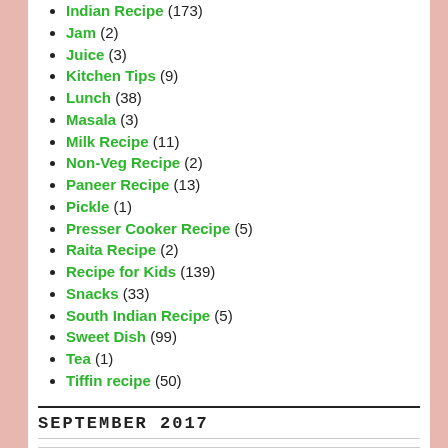Indian Recipe (173)
Jam (2)
Juice (3)
Kitchen Tips (9)
Lunch (38)
Masala (3)
Milk Recipe (11)
Non-Veg Recipe (2)
Paneer Recipe (13)
Pickle (1)
Presser Cooker Recipe (5)
Raita Recipe (2)
Recipe for Kids (139)
Snacks (33)
South Indian Recipe (5)
Sweet Dish (99)
Tea (1)
Tiffin recipe (50)
SEPTEMBER 2017
| M | T | W | T | F | S | S |
| --- | --- | --- | --- | --- | --- | --- |
|  |  |  |  | 1 | 2 | 3 |